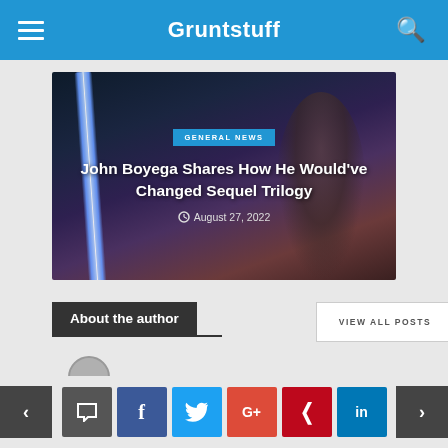Gruntstuff
[Figure (screenshot): Article hero image showing a dark figure with a lightsaber, overlaid with category tag 'GENERAL NEWS', title 'John Boyega Shares How He Would've Changed Sequel Trilogy', and date 'August 27, 2022']
John Boyega Shares How He Would've Changed Sequel Trilogy
August 27, 2022
About the author
VIEW ALL POSTS
< [comment] [f] [twitter] [G+] [pinterest] [in] >